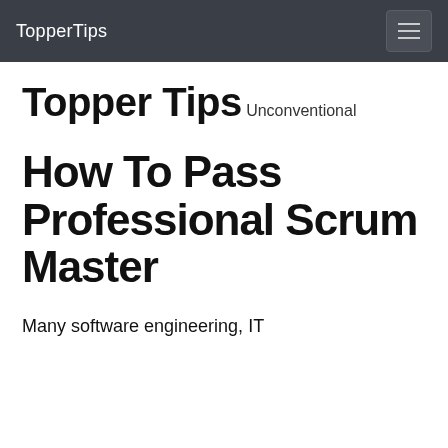TopperTips
Topper Tips
Unconventional
How To Pass Professional Scrum Master
Many software engineering, IT